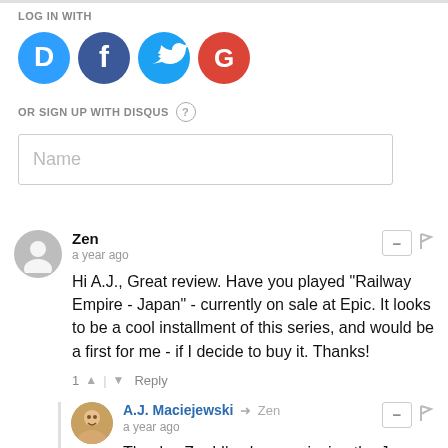LOG IN WITH
[Figure (infographic): Four social login icon buttons: Disqus (blue D), Facebook (dark blue f), Twitter (light blue bird), Google (red G)]
OR SIGN UP WITH DISQUS (?)
Name
Zen
a year ago
Hi A.J., Great review. Have you played "Railway Empire - Japan" - currently on sale at Epic. It looks to be a cool installment of this series, and would be a first for me - if I decide to buy it. Thanks!
1  ▲  |  ▼  Reply
A.J. Maciejewski → Zen
a year ago
Thanks, Zen! I've been enjoying the Japan DLC. It's a very different-feeling environment